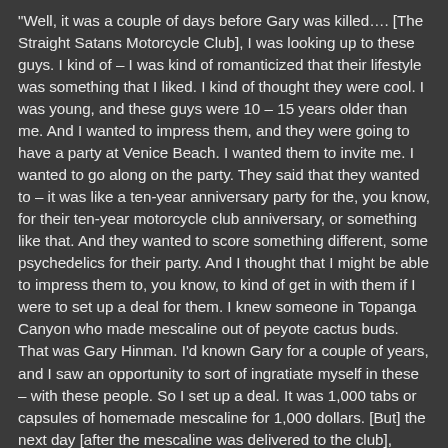"Well, it was a couple of days before Gary was killed…. [The Straight Satans Motorcycle Club], I was looking up to these guys. I kind of – I was kind of romanticized that their lifestyle was something that I liked. I kind of thought they were cool. I was young, and these guys were 10 – 15 years older than me. And I wanted to impress them, and they were going to have a party at Venice Beach. I wanted them to invite me. I wanted to go along on the party. They said that they wanted to – it was like a ten-year anniversary party for the, you know, for their ten-year motorcycle club anniversary, or something like that. And they wanted to score something different, some psychedelics for their party. And I thought that I might be able to impress them to, you know, to kind of get in with them if I were to set up a deal for them. I knew someone in Topanga Canyon who made mescaline out of peyote cactus buds. That was Gary Hinman. I'd known Gary for a couple of years, and I saw an opportunity to sort of ingratiate myself in these – with these people. So I set up a deal. It was 1,000 tabs or capsules of homemade mescaline for 1,000 dollars. [But] the next day [after the mescaline was delivered to the club], [they] came back to the Spahn Ranch and essentially [they] kind of beat me up. You know. They hit